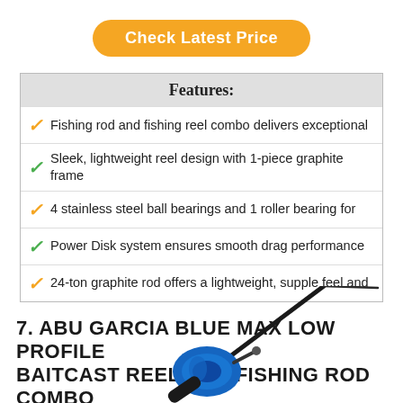Check Latest Price
Features:
Fishing rod and fishing reel combo delivers exceptional
Sleek, lightweight reel design with 1-piece graphite frame
4 stainless steel ball bearings and 1 roller bearing for
Power Disk system ensures smooth drag performance
24-ton graphite rod offers a lightweight, supple feel and
7. ABU GARCIA BLUE MAX LOW PROFILE BAITCAST REEL AND FISHING ROD COMBO
[Figure (photo): Blue and black ABU Garcia Blue Max baitcast reel and fishing rod combo shown diagonally, partially visible at bottom of page.]